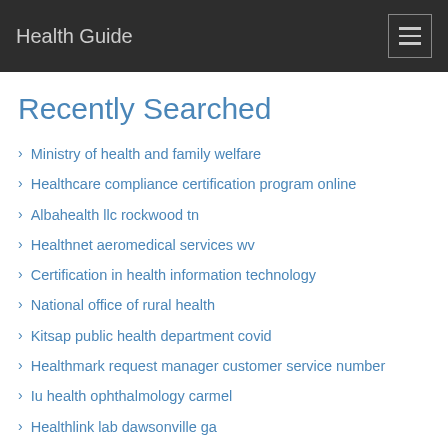Health Guide
Recently Searched
Ministry of health and family welfare
Healthcare compliance certification program online
Albahealth llc rockwood tn
Healthnet aeromedical services wv
Certification in health information technology
National office of rural health
Kitsap public health department covid
Healthmark request manager customer service number
Iu health ophthalmology carmel
Healthlink lab dawsonville ga
Cost of bahama health visa
Healthlink fitness and wellness center